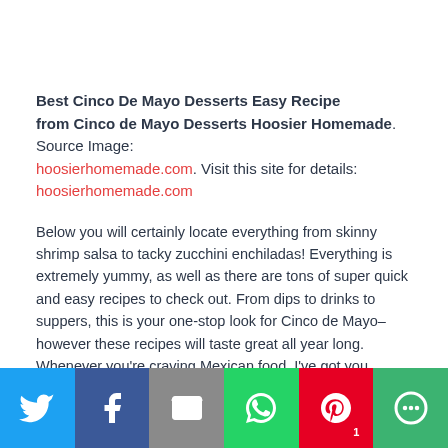Best Cinco De Mayo Desserts Easy Recipe from Cinco de Mayo Desserts Hoosier Homemade. Source Image: hoosierhomemade.com. Visit this site for details: hoosierhomemade.com
Below you will certainly locate everything from skinny shrimp salsa to tacky zucchini enchiladas! Everything is extremely yummy, as well as there are tons of super quick and easy recipes to check out. From dips to drinks to suppers, this is your one-stop look for Cinco de Mayo–however these recipes will taste great all year long. Whenever you're craving Mexican food, I've got you covered. Look no farther for your best feast food! ¡ Disfrute!.
[Figure (other): Social share buttons: Twitter, Facebook, Email, WhatsApp, Pinterest (with badge 1), More]